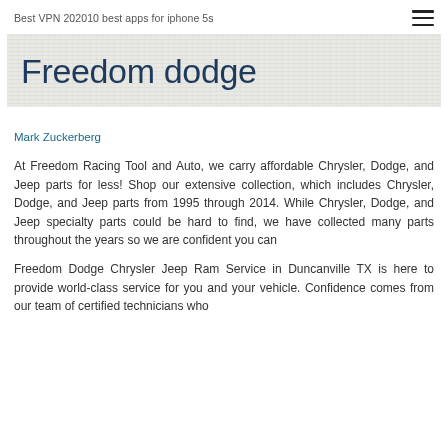Best VPN 202010 best apps for iphone 5s
Freedom dodge
Mark Zuckerberg
At Freedom Racing Tool and Auto, we carry affordable Chrysler, Dodge, and Jeep parts for less! Shop our extensive collection, which includes Chrysler, Dodge, and Jeep parts from 1995 through 2014. While Chrysler, Dodge, and Jeep specialty parts could be hard to find, we have collected many parts throughout the years so we are confident you can
Freedom Dodge Chrysler Jeep Ram Service in Duncanville TX is here to provide world-class service for you and your vehicle. Confidence comes from our team of certified technicians who